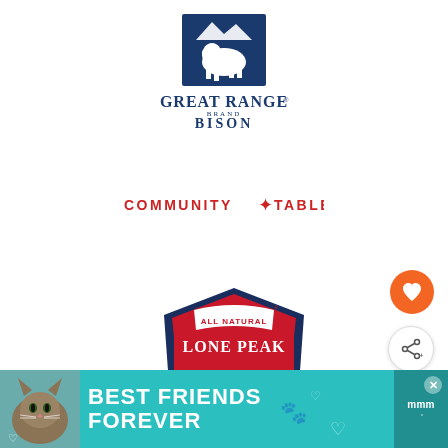[Figure (logo): Great Range Brand Bison logo — blue bison illustration above 'GREAT RANGE' text with 'BRAND' and 'BISON' below]
[Figure (logo): Community Table logo — red text with a star in place of the asterisk between Community and Table]
[Figure (logo): Lone Peak Bison logo — shield/badge shape with 'ALL NATURAL LONE PEAK' at top in red and white, bison image, and 'BISON' in large navy letters below]
[Figure (infographic): Orange circular heart/like button on right side]
[Figure (infographic): White circular share button with share icon on right side]
[Figure (infographic): What's Next panel with thumbnail and text 'Saffron Pork Wellington']
[Figure (infographic): Bottom advertisement banner: teal background with cat photo, text 'BEST FRIENDS FOREVER', heart decorations, close button, and Meow Mix logo]